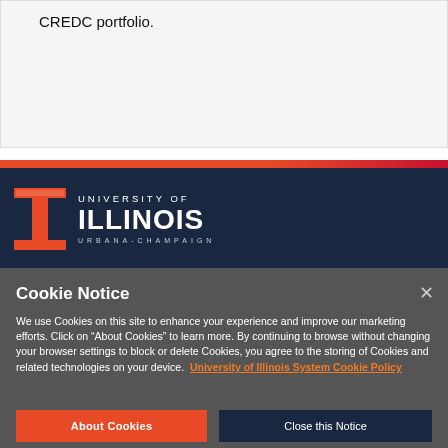CREDC portfolio.
[Figure (logo): University of Illinois Urbana-Champaign logo with Block I in orange and white text on dark navy background]
Cookie Notice
We use Cookies on this site to enhance your experience and improve our marketing efforts. Click on “About Cookies” to learn more. By continuing to browse without changing your browser settings to block or delete Cookies, you agree to the storing of Cookies and related technologies on your device. University of Illinois System Cookie Policy
About Cookies
Close this Notice